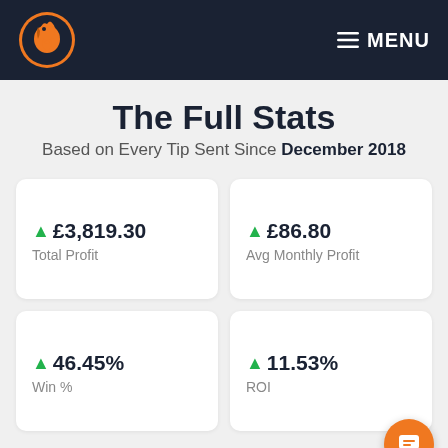MENU
The Full Stats
Based on Every Tip Sent Since December 2018
↑ £3,819.30
Total Profit
↑ £86.80
Avg Monthly Profit
↑ 46.45%
Win %
↑ 11.53%
ROI